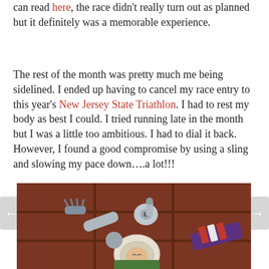can read here, the race didn't really turn out as planned but it definitely was a memorable experience.
The rest of the month was pretty much me being sidelined. I ended up having to cancel my race entry to this year's New Jersey State Triathlon. I had to rest my body as best I could. I tried running late in the month but I was a little too ambitious. I had to dial it back. However, I found a good compromise by using a sling and slowing my pace down….a lot!!!
[Figure (photo): Screenshot from Toy Story / animated movie showing Buzz Lightyear lying on his back with his arm extended, appearing to be injured or resting. The scene has a reddish-brown tiled ceiling background.]